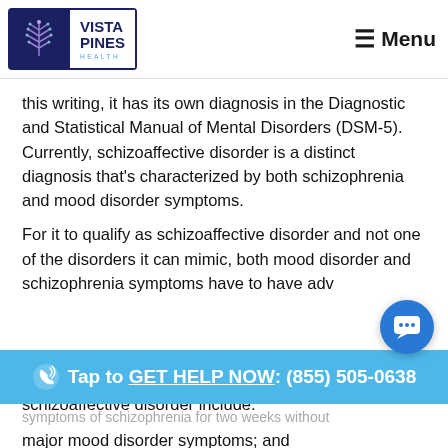Vista Pines Health — Menu
this writing, it has its own diagnosis in the Diagnostic and Statistical Manual of Mental Disorders (DSM-5). Currently, schizoaffective disorder is a distinct diagnosis that's characterized by both schizophrenia and mood disorder symptoms.
For it to qualify as schizoaffective disorder and not one of the disorders it can mimic, both mood disorder and schizophrenia symptoms have to have adversely impacted someone's life. The criteria for schizoaffective disorder include:
symptoms of schizophrenia for two weeks without major mood disorder symptoms; and